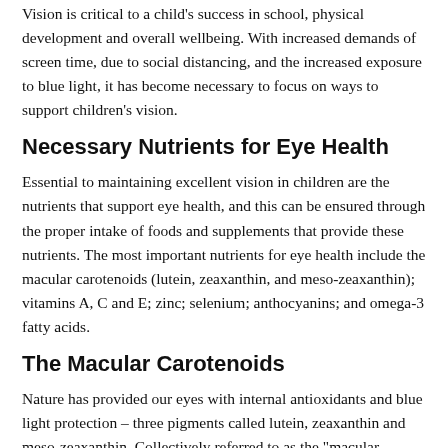Vision is critical to a child's success in school, physical development and overall wellbeing. With increased demands of screen time, due to social distancing, and the increased exposure to blue light, it has become necessary to focus on ways to support children's vision.
Necessary Nutrients for Eye Health
Essential to maintaining excellent vision in children are the nutrients that support eye health, and this can be ensured through the proper intake of foods and supplements that provide these nutrients. The most important nutrients for eye health include the macular carotenoids (lutein, zeaxanthin, and meso-zeaxanthin); vitamins A, C and E; zinc; selenium; anthocyanins; and omega-3 fatty acids.
The Macular Carotenoids
Nature has provided our eyes with internal antioxidants and blue light protection – three pigments called lutein, zeaxanthin and meso-zeaxanthin. Collectively referred to as the "macular